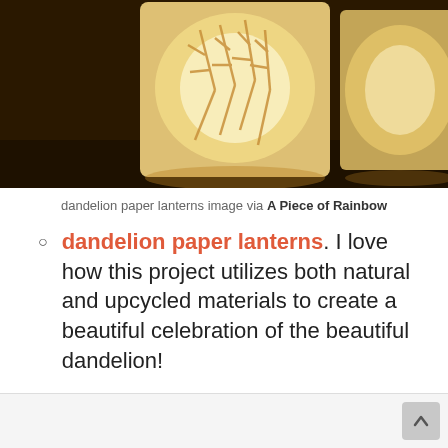[Figure (photo): Photograph of glowing dandelion paper lanterns on a dark brown background. Two cylindrical lanterns with cut-out dandelion patterns, illuminated from inside, warm golden light.]
dandelion paper lanterns image via A Piece of Rainbow
dandelion paper lanterns. I love how this project utilizes both natural and upcycled materials to create a beautiful celebration of the beautiful dandelion!